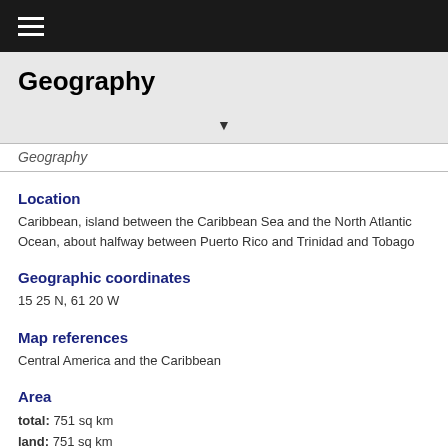☰
Geography
Geography
Location
Caribbean, island between the Caribbean Sea and the North Atlantic Ocean, about halfway between Puerto Rico and Trinidad and Tobago
Geographic coordinates
15 25 N, 61 20 W
Map references
Central America and the Caribbean
Area
total: 751 sq km
land: 751 sq km
water: NEGL
country comparison to the world: 189
Area - comparative